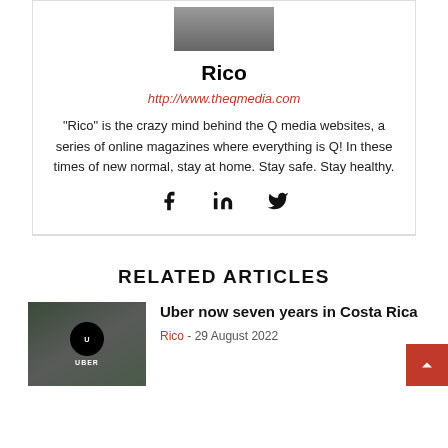[Figure (photo): Author headshot photo (top portion visible, person in suit)]
Rico
http://www.theqmedia.com
"Rico" is the crazy mind behind the Q media websites, a series of online magazines where everything is Q! In these times of new normal, stay at home. Stay safe. Stay healthy.
[Figure (illustration): Social media icons: Facebook, LinkedIn, Twitter]
RELATED ARTICLES
[Figure (photo): Photo of a hand holding an Uber smartphone with Uber logo visible, inside a car]
Uber now seven years in Costa Rica
Rico - 29 August 2022